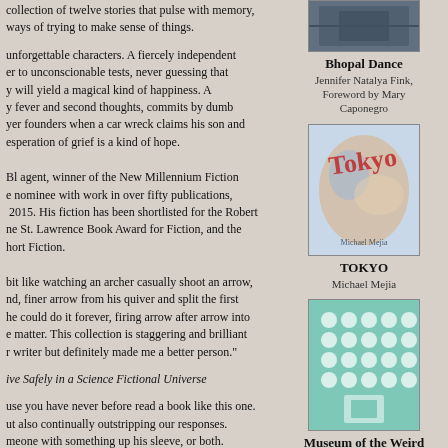collection of twelve stories that pulse with memory, ways of trying to make sense of things.
unforgettable characters. A fiercely independent er to unconscionable tests, never guessing that y will yield a magical kind of happiness. A y fever and second thoughts, commits by dumb yer founders when a car wreck claims his son and esperation of grief is a kind of hope.
Bl agent, winner of the New Millennium Fiction e nominee with work in over fifty publications, 2015. His fiction has been shortlisted for the Robert ne St. Lawrence Book Award for Fiction, and the hort Fiction.
bit like watching an archer casually shoot an arrow, nd, finer arrow from his quiver and split the first he could do it forever, firing arrow after arrow into e matter. This collection is staggering and brilliant r writer but definitely made me a better person."
ive Safely in a Science Fictional Universe
use you have never before read a book like this one. ut also continually outstripping our responses. meone with something up his sleeve, or both. us twelve fabulous and brilliant stories. The urpose. These stories will open your eyes even
[Figure (photo): Book cover for Bhopal Dance]
Bhopal Dance
Jennifer Natalya Fink,
Foreword by Mary Caponegro
[Figure (photo): Book cover for TOKYO by Michael Mejia]
TOKYO
Michael Mejia
[Figure (photo): Book cover for Museum of the Weird by Amelia Gray]
Museum of the Weird
by Amelia Gray
[Figure (photo): Book cover for Year of the Rat by Marc Anthony Richardson]
Year of the Rat
Marc Anthony Richardson